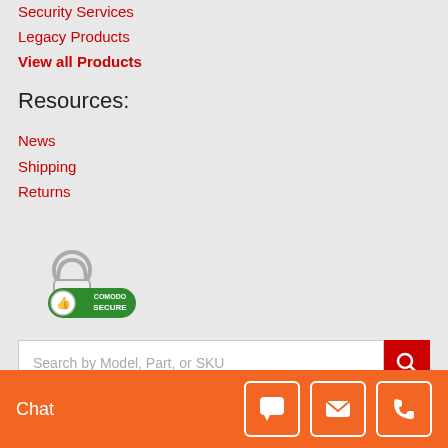Security Services
Legacy Products
View all Products
Resources:
News
Shipping
Returns
[Figure (logo): Comodo Secure badge with green padlock and thumbs up icon]
[Figure (screenshot): Search bar with placeholder text 'Search by Model, Part, or SKU' and red search button]
[Figure (logo): SSL secure badge with green padlock]
[Figure (infographic): Orange chat bar at bottom with Chat label and three icon buttons: chat bubble, email envelope, phone]